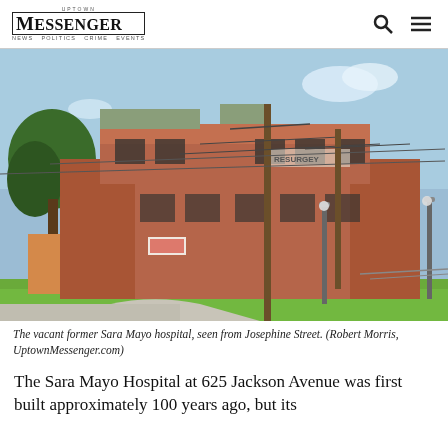Uptown Messenger
[Figure (photo): Exterior view of the vacant former Sara Mayo hospital building, a large multi-story brick structure with abandoned windows, utility poles with power lines in front, and a grass area in the foreground, seen from Josephine Street.]
The vacant former Sara Mayo hospital, seen from Josephine Street. (Robert Morris, UptownMessenger.com)
The Sara Mayo Hospital at 625 Jackson Avenue was first built approximately 100 years ago, but its